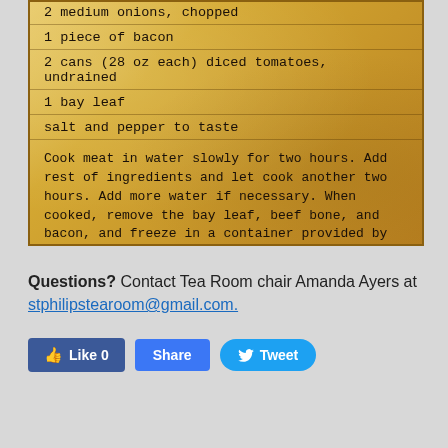[Figure (illustration): Aged parchment/recipe card background showing partial ingredient list and cooking instructions in typewriter font]
2 medium onions, chopped
1 piece of bacon
2 cans (28 oz each) diced tomatoes, undrained
1 bay leaf
salt and pepper to taste
Cook meat in water slowly for two hours. Add rest of ingredients and let cook another two hours. Add more water if necessary. When cooked, remove the bay leaf, beef bone, and bacon, and freeze in a container provided by the church.
Questions? Contact Tea Room chair Amanda Ayers at stphilipstearoom@gmail.com.
[Figure (infographic): Social media buttons: Like 0 (Facebook), Share (Facebook), Tweet (Twitter)]